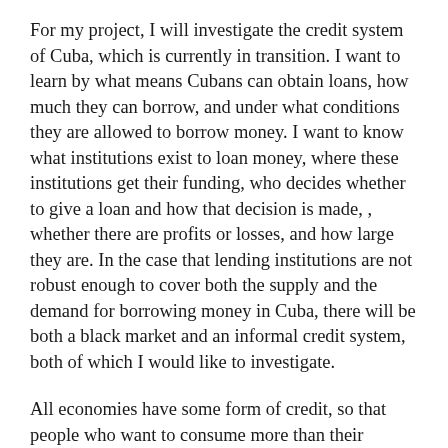For my project, I will investigate the credit system of Cuba, which is currently in transition. I want to learn by what means Cubans can obtain loans, how much they can borrow, and under what conditions they are allowed to borrow money. I want to know what institutions exist to loan money, where these institutions get their funding, who decides whether to give a loan and how that decision is made, , whether there are profits or losses, and how large they are. In the case that lending institutions are not robust enough to cover both the supply and the demand for borrowing money in Cuba, there will be both a black market and an informal credit system, both of which I would like to investigate.
All economies have some form of credit, so that people who want to consume more than their current income allows can borrow from people who would rather spend some of their current income (plus interest) in the future. People have borrowed money for much of human history, in formal and informal markets. The development of sophisticated credit markets allows countries to develop strong private enterprise. Insurance, savings, bonds, stocks, and other